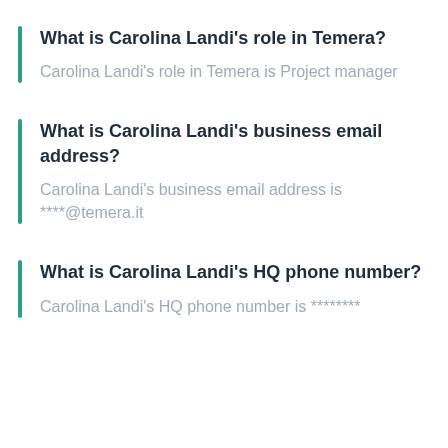What is Carolina Landi's role in Temera?
Carolina Landi's role in Temera is Project manager
What is Carolina Landi's business email address?
Carolina Landi's business email address is ****@temera.it
What is Carolina Landi's HQ phone number?
Carolina Landi's HQ phone number is ********